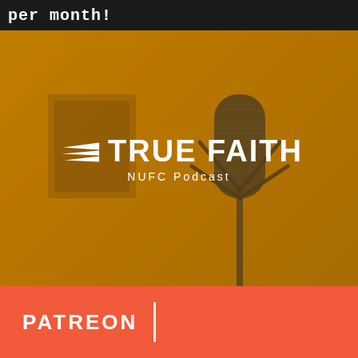per month!
[Figure (photo): Studio condenser microphone on a shock mount stand in a recording studio, photographed against an acoustic panel background. The image has a warm golden/amber color overlay or filter. In the center of the image is the True Faith NUFC Podcast logo consisting of stylized wings and bold white text.]
TRUE FAITH
NUFC Podcast
PATREON